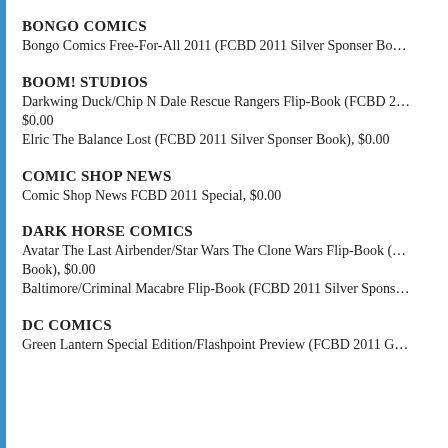BONGO COMICS
Bongo Comics Free-For-All 2011 (FCBD 2011 Silver Sponser Bo…
BOOM! STUDIOS
Darkwing Duck/Chip N Dale Rescue Rangers Flip-Book (FCBD 2… $0.00
Elric The Balance Lost (FCBD 2011 Silver Sponser Book), $0.00
COMIC SHOP NEWS
Comic Shop News FCBD 2011 Special, $0.00
DARK HORSE COMICS
Avatar The Last Airbender/Star Wars The Clone Wars Flip-Book (… Book), $0.00
Baltimore/Criminal Macabre Flip-Book (FCBD 2011 Silver Spons…
DC COMICS
Green Lantern Special Edition/Flashpoint Preview (FCBD 2011 G…